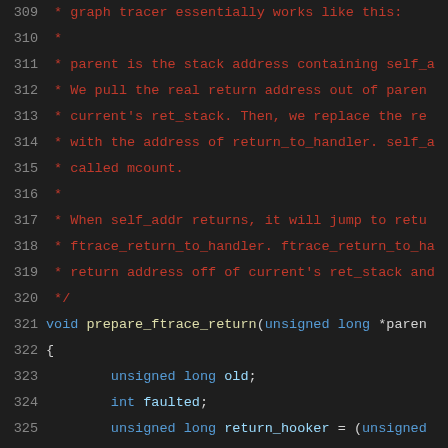[Figure (screenshot): Source code viewer showing C code lines 309-330 with line numbers, syntax highlighting. Comments in red/dark red, keywords in blue, function names in yellow, on a dark background.]